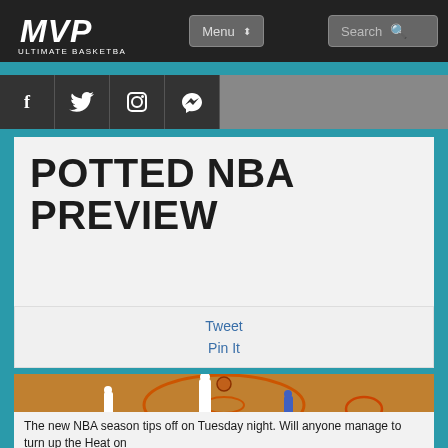MVP Ultimate Basketball — Menu | Search
[Figure (screenshot): Social media icons: Facebook, Twitter, Instagram, RSS feed in dark bar]
POTTED NBA PREVIEW
Tweet
Pin It
[Figure (photo): Basketball game photo — LeBron James in Miami Heat jersey dunking, aerial view of court with other players]
The new NBA season tips off on Tuesday night. Will anyone manage to turn up the Heat on